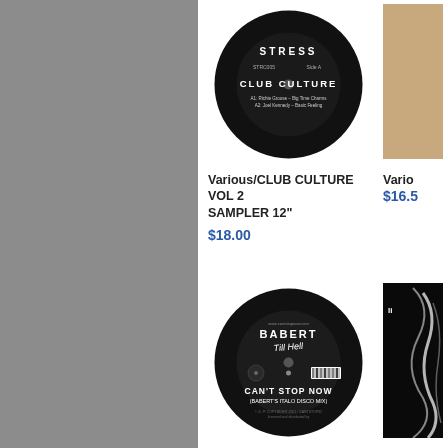[Figure (photo): Gray sidebar panel on left side of page]
[Figure (photo): Black vinyl record with STRESS / CLUB CULTURE label text]
Various/CLUB CULTURE VOL 2 SAMPLER 12"
$18.00
[Figure (photo): Partial album cover with tan/beige color on right edge]
Vario
$16.5
[Figure (photo): Black vinyl record with BABERT / CAN'T STOP NOW label]
Various/CLUB SWEAT (LTD EDITION) DLP
$45.00
[Figure (photo): Partial dark album cover with abstract brush stroke art on right edge]
Vario 12"
$18.0